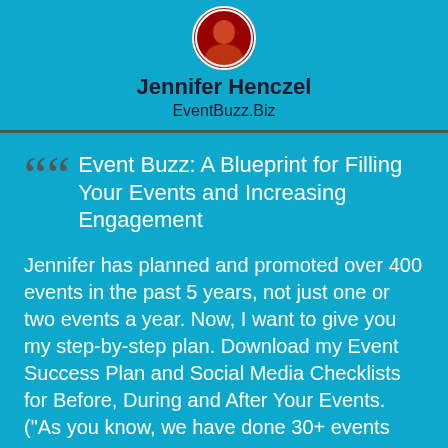[Figure (photo): Circular profile photo of Jennifer Henczel]
Jennifer Henczel
EventBuzz.Biz
Event Buzz: A Blueprint for Filling Your Events and Increasing Engagement
Jennifer has planned and promoted over 400 events in the past 5 years, not just one or two events a year. Now, I want to give you my step-by-step plan. Download my Event Success Plan and Social Media Checklists for Before, During and After Your Events. ("As you know, we have done 30+ events per